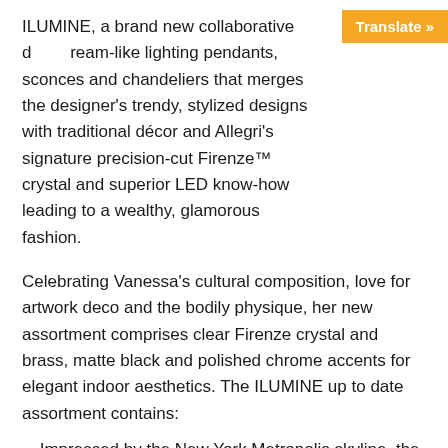ILUMINE, a brand new collaborative dream-like lighting pendants, sconces and chandeliers that merges the designer's trendy, stylized designs with traditional décor and Allegri's signature precision-cut Firenze™ crystal and superior LED know-how leading to a wealthy, glamorous fashion.
Celebrating Vanessa's cultural composition, love for artwork deco and the bodily physique, her new assortment comprises clear Firenze crystal and brass, matte black and polished chrome accents for elegant indoor aesthetics. The ILUMINE up to date assortment contains:
Impressed by the New York Metropolis skyline, the